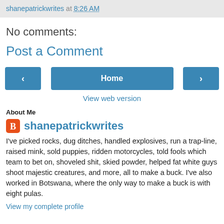shanepatrickwrites at 8:26 AM
No comments:
Post a Comment
< Home >
View web version
About Me
shanepatrickwrites
I've picked rocks, dug ditches, handled explosives, run a trap-line, raised mink, sold puppies, ridden motorcycles, told fools which team to bet on, shoveled shit, skied powder, helped fat white guys shoot majestic creatures, and more, all to make a buck. I've also worked in Botswana, where the only way to make a buck is with eight pulas.
View my complete profile